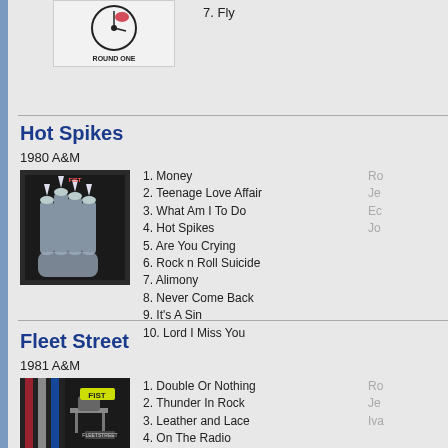[Figure (photo): Partial album art for Round One, showing a clock/face logo with text ROUND ONE]
7. Fly
Hot Spikes
1980 A&M
[Figure (photo): Hot Spikes album cover showing a gloved fist with spikes]
1. Money
2. Teenage Love Affair
3. What Am I To Do
4. Hot Spikes
5. Are You Crying
6. Rock n Roll Suicide
7. Alimony
8. Never Come Back
9. It's A Sin
10. Lord I Miss You
Fleet Street
1981 A&M
[Figure (photo): Fleet Street album cover]
1. Double Or Nothing
2. Thunder In Rock
3. Leather and Lace
4. On The Radio
5. It's Late